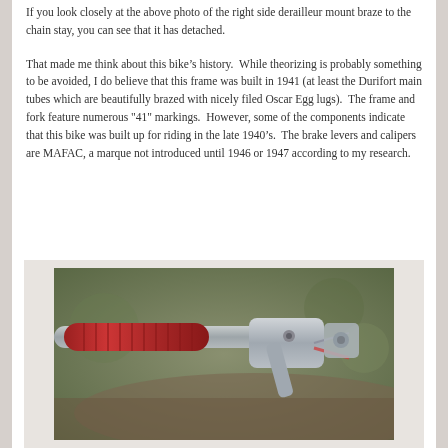If you look closely at the above photo of the right side derailleur mount braze to the chain stay, you can see that it has detached.
That made me think about this bike's history.  While theorizing is probably something to be avoided, I do believe that this frame was built in 1941 (at least the Durifort main tubes which are beautifully brazed with nicely filed Oscar Egg lugs).  The frame and fork feature numerous "41" markings.  However, some of the components indicate that this bike was built up for riding in the late 1940's.  The brake levers and calipers are MAFAC, a marque not introduced until 1946 or 1947 according to my research.
[Figure (photo): Close-up photo of a vintage bicycle handlebar with a red grip on the left and a silver/grey brake lever/caliper mechanism on the right, with a blurred outdoor background.]